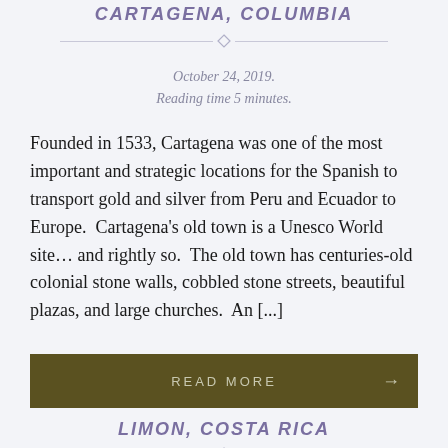CARTAGENA, COLUMBIA
October 24, 2019.
Reading time 5 minutes.
Founded in 1533, Cartagena was one of the most important and strategic locations for the Spanish to transport gold and silver from Peru and Ecuador to Europe.  Cartagena's old town is a Unesco World site... and rightly so.  The old town has centuries-old colonial stone walls, cobbled stone streets, beautiful plazas, and large churches.  An [...]
READ MORE →
LIMON, COSTA RICA